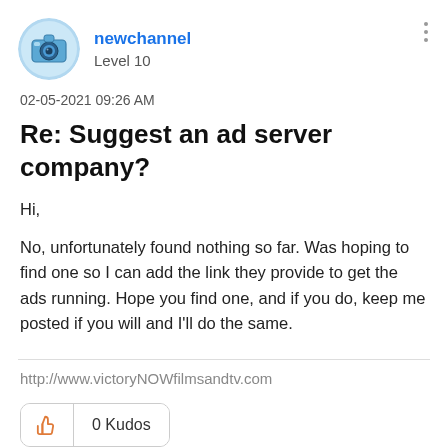[Figure (illustration): Circular avatar icon with cartoon robot/camera image in blue tones]
newchannel
Level 10
02-05-2021 09:26 AM
Re: Suggest an ad server company?
Hi,

No, unfortunately found nothing so far. Was hoping to find one so I can add the link they provide to get the ads running. Hope you find one, and if you do, keep me posted if you will and I'll do the same.
http://www.victoryNOWfilmsandtv.com
0 Kudos